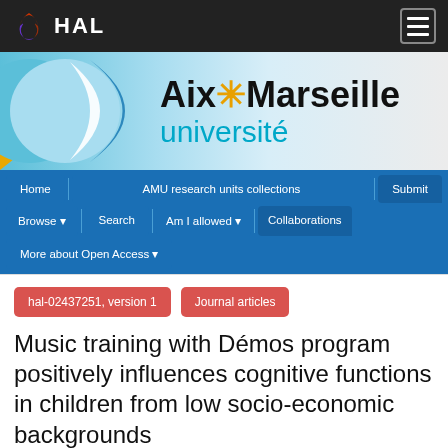HAL
[Figure (logo): Aix-Marseille université banner logo with geometric shapes in blue, yellow and white]
Home | AMU research units collections | Submit | Browse | Search | Am I allowed | Collaborations | More about Open Access
hal-02437251, version 1
Journal articles
Music training with Démos program positively influences cognitive functions in children from low socio-economic backgrounds